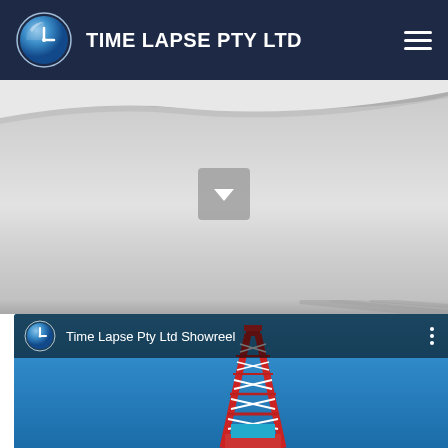[Figure (screenshot): Website header navigation bar with Time Lapse Pty Ltd logo (blue globe/clock icon), company name in white bold text on dark navy background, and hamburger menu icon on the right]
[Figure (screenshot): Light gray hero section with a curved page fold at the top and a gray rounded square scroll/dropdown button with a white chevron pointing down in the center]
[Figure (screenshot): YouTube video thumbnail showing 'Time Lapse Pty Ltd Showreel' with the company logo, white text title, three-dot menu icon, and a red and white drilling rig against a bright blue sky background]